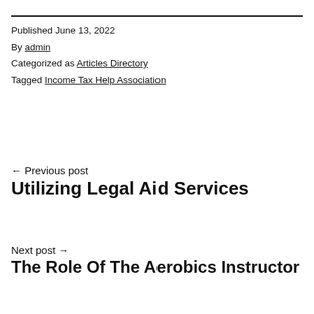Published June 13, 2022
By admin
Categorized as Articles Directory
Tagged Income Tax Help Association
← Previous post
Utilizing Legal Aid Services
Next post →
The Role Of The Aerobics Instructor